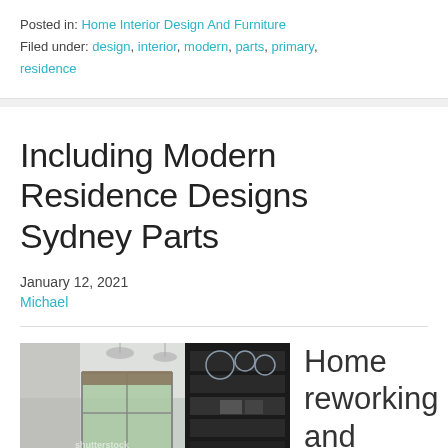Posted in: Home Interior Design And Furniture
Filed under: design, interior, modern, parts, primary, residence
Including Modern Residence Designs Sydney Parts
January 12, 2021
Michael
[Figure (photo): Interior room photo showing a modern home office or kitchen space with dark shelving, pendant lights, a window with blinds, and a shutterstock watermark]
Home reworking and decorating sound